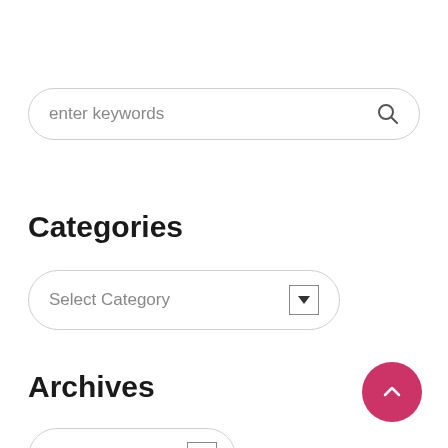enter keywords
Categories
Select Category
Archives
Select Month